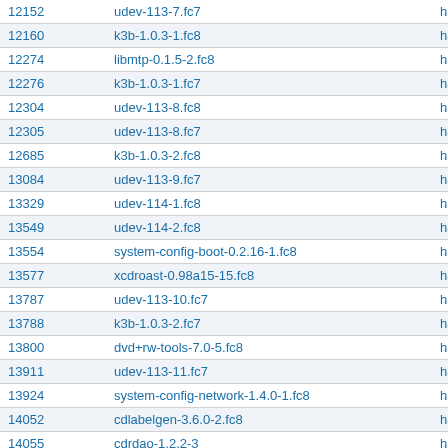| ID | Package | Info |
| --- | --- | --- |
| 12152 | udev-113-7.fc7 | ha |
| 12160 | k3b-1.0.3-1.fc8 | ha |
| 12274 | libmtp-0.1.5-2.fc8 | ha |
| 12276 | k3b-1.0.3-1.fc7 | ha |
| 12304 | udev-113-8.fc8 | ha |
| 12305 | udev-113-8.fc7 | ha |
| 12685 | k3b-1.0.3-2.fc8 | ha |
| 13084 | udev-113-9.fc7 | ha |
| 13329 | udev-114-1.fc8 | ha |
| 13549 | udev-114-2.fc8 | ha |
| 13554 | system-config-boot-0.2.16-1.fc8 | ha |
| 13577 | xcdroast-0.98a15-15.fc8 | ha |
| 13787 | udev-113-10.fc7 | ha |
| 13788 | k3b-1.0.3-2.fc7 | ha |
| 13800 | dvd+rw-tools-7.0-5.fc8 | ha |
| 13911 | udev-113-11.fc7 | ha |
| 13924 | system-config-network-1.4.0-1.fc8 | ha |
| 14052 | cdlabelgen-3.6.0-2.fc8 | ha |
| 14055 | cdrdao-1.2.2-3 | ha |
| 14056 | cdrkit-1.1.6-2.fc8 | ha |
| 14057 | dialog-1.1-2.20070704.fc8 | ha |
| 14058 | dvd+rw-tools-7.0-6.fc8 | ha |